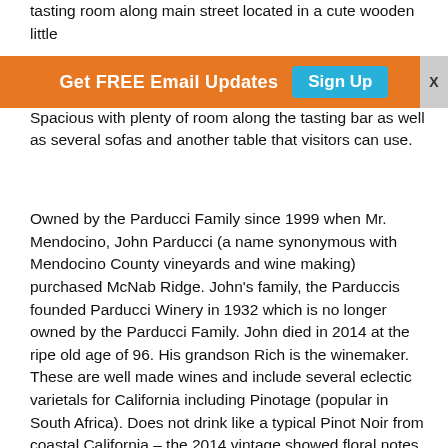tasting room along main street located in a cute wooden little be a church, hardware store and an antique store. Spacious with plenty of room along the tasting bar as well as several sofas and another table that visitors can use.
[Figure (other): Orange promotional banner with text 'Get FREE Email Updates' and a teal 'Sign Up' button, with a gray X close button on the right.]
Owned by the Parducci Family since 1999 when Mr. Mendocino, John Parducci (a name synonymous with Mendocino County vineyards and wine making) purchased McNab Ridge. John's family, the Parduccis founded Parducci Winery in 1932 which is no longer owned by the Parducci Family. John died in 2014 at the ripe old age of 96. His grandson Rich is the winemaker. These are well made wines and include several eclectic varietals for California including Pinotage (popular in South Africa). Does not drink like a typical Pinot Noir from coastal California – the 2014 vintage showed floral notes on the bouquet with darker fruits on the palate, a bit of savory spices along with great acidity. They also produce a slightly off dry French Colombard – one notices the slight sweetness only on the finish. These wines